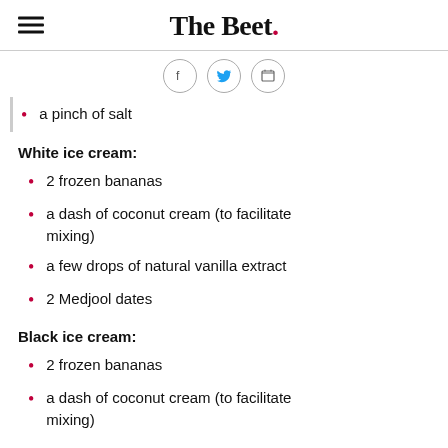The Beet.
a pinch of salt
White ice cream:
2 frozen bananas
a dash of coconut cream (to facilitate mixing)
a few drops of natural vanilla extract
2 Medjool dates
Black ice cream:
2 frozen bananas
a dash of coconut cream (to facilitate mixing)